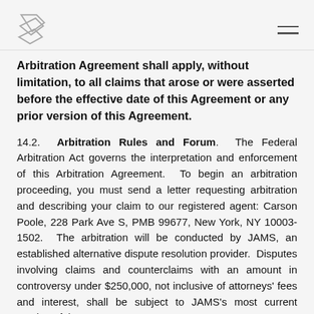[Logo] [Menu icon]
Arbitration Agreement shall apply, without limitation, to all claims that arose or were asserted before the effective date of this Agreement or any prior version of this Agreement.
14.2. Arbitration Rules and Forum. The Federal Arbitration Act governs the interpretation and enforcement of this Arbitration Agreement. To begin an arbitration proceeding, you must send a letter requesting arbitration and describing your claim to our registered agent: Carson Poole, 228 Park Ave S, PMB 99677, New York, NY 10003-1502. The arbitration will be conducted by JAMS, an established alternative dispute resolution provider. Disputes involving claims and counterclaims with an amount in controversy under $250,000, not inclusive of attorneys' fees and interest, shall be subject to JAMS's most current version of the